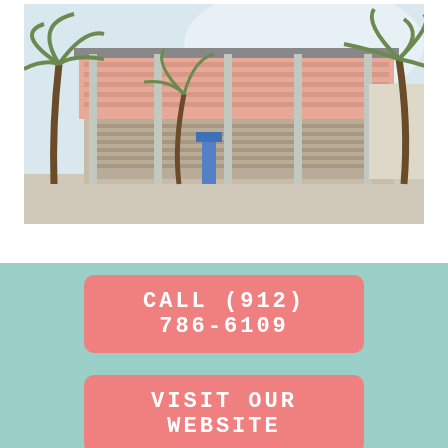[Figure (photo): Exterior photo of a two-story beachside building with pink/coral siding, horizontal lattice railings, white structural columns, and palm trees framing the view against a bright sky.]
CALL (912) 786-6109
VISIT OUR WEBSITE